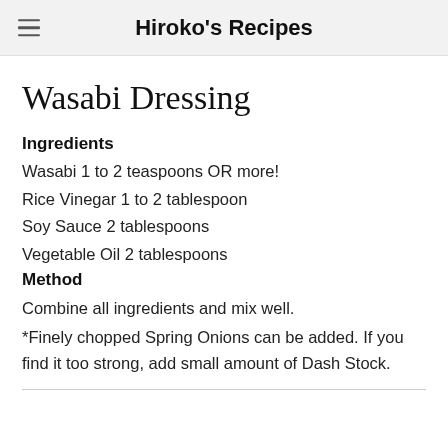Hiroko's Recipes
Wasabi Dressing
Ingredients
Wasabi 1 to 2 teaspoons OR more!
Rice Vinegar 1 to 2 tablespoon
Soy Sauce 2 tablespoons
Vegetable Oil 2 tablespoons
Method
Combine all ingredients and mix well.
*Finely chopped Spring Onions can be added. If you find it too strong, add small amount of Dash Stock.